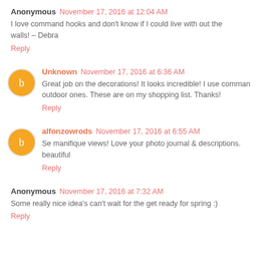Anonymous  November 17, 2016 at 12:04 AM
I love command hooks and don't know if I could live with out the walls! – Debra
Reply
Unknown  November 17, 2016 at 6:36 AM
Great job on the decorations! It looks incredible! I use command outdoor ones. These are on my shopping list. Thanks!
Reply
alfonzowrods  November 17, 2016 at 6:55 AM
Se manifique views! Love your photo journal & descriptions. beautiful
Reply
Anonymous  November 17, 2016 at 7:32 AM
Some really nice idea's can't wait for the get ready for spring :)
Reply